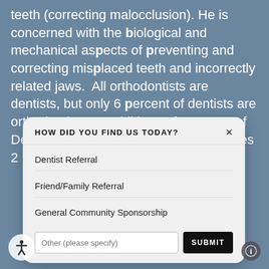teeth (correcting malocclusion). He is concerned with the biological and mechanical aspects of preventing and correcting misplaced teeth and incorrectly related jaws.  All orthodontists are dentists, but only 6 percent of dentists are orthodontists. In addition to four years of Dental School, an orthodontist undergoes 2
HOW DID YOU FIND US TODAY?
Dentist Referral
Friend/Family Referral
General Community Sponsorship